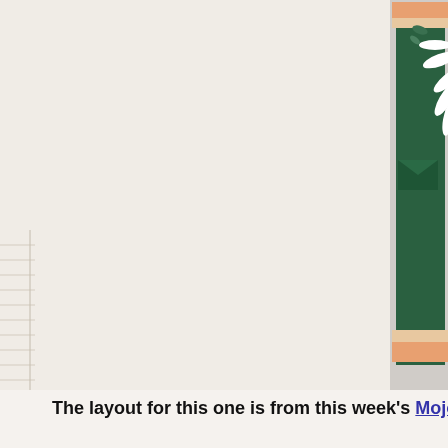[Figure (photo): Craft card with white daisy flower on dark green background with salmon/peach border and floral pattern strip, positioned in top right portion of page]
The layout for this one is from this week's Mojo M...
[Figure (illustration): Mojo Monday 498 card layout sketch showing a tall vertical rectangle panel on a card base with small banner/tab elements at bottom, Mojo Monday logo visible]